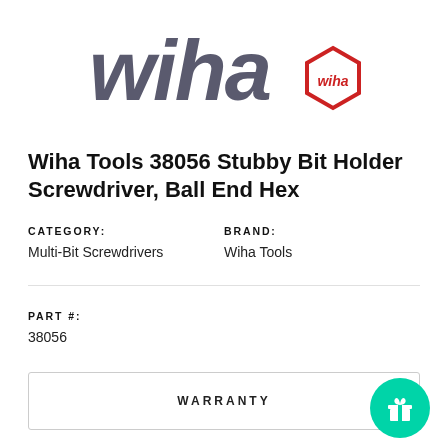[Figure (logo): Wiha brand logo: large italic grey 'wiha' text with a red hexagonal badge containing 'wiha' in script]
Wiha Tools 38056 Stubby Bit Holder Screwdriver, Ball End Hex
CATEGORY:
Multi-Bit Screwdrivers
BRAND:
Wiha Tools
PART #:
38056
WARRANTY